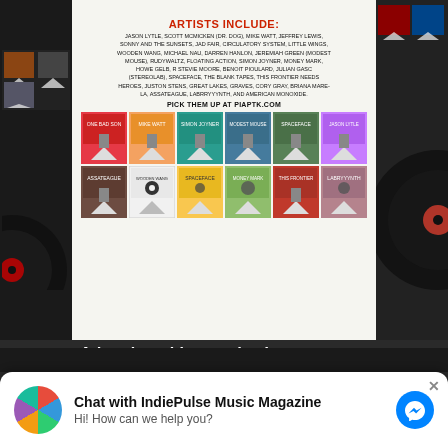[Figure (illustration): Music cassette tape album covers advertisement for PIAPTK.COM featuring colorful album art tiles in a grid layout]
ARTISTS INCLUDE:
JASON LYTLE, SCOTT MCMICKEN (DR. DOG), MIKE WATT, JEFFREY LEWIS, SONNY AND THE SUNSETS, JAD FAIR, CIRCULATORY SYSTEM, LITTLE WINGS, WOODEN WANG, MICHAEL NAU, DARREN HANLON, JEREMIAH GREEN (MODEST MOUSE), RUDYWALTZ, FLOATING ACTION, SIMON JOYNER, MONEY MARK, HOWE GELB, R STEVIE MOORE, BENOIT PIOULARD, JULIAN GASC (STEREOLAB), SPACEFACE, THE BLANK TAPES, THIS FRONTIER NEEDS HEROES, JUSTON STENS, GREAT LAKES, GRAVES, CORY GRAY, BRIANA MARE-LA, ASSATEAGUE, LABRRYYYNTH, AND AMERICAN MONOXIDE.
PICK THEM UP AT PIAPTK.COM
Advertise with us today !
Sponsor us for as low as $50.00 – contact us about Advertising indiepulsemusic@gmail.com
Chat with IndiePulse Music Magazine
Hi! How can we help you?